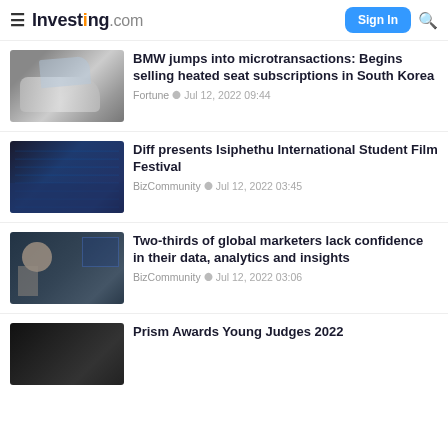Investing.com
[Figure (photo): BMW electric car (i8) with gull-wing door open]
BMW jumps into microtransactions: Begins selling heated seat subscriptions in South Korea
Fortune · Jul 12, 2022 09:44
[Figure (photo): Trader at desk with multiple financial chart screens]
Diff presents Isiphethu International Student Film Festival
BizCommunity · Jul 12, 2022 03:45
[Figure (photo): Financial analyst with headset at trading desk]
Two-thirds of global marketers lack confidence in their data, analytics and insights
BizCommunity · Jul 12, 2022 03:06
[Figure (photo): Dark image, partially visible]
Prism Awards Young Judges 2022